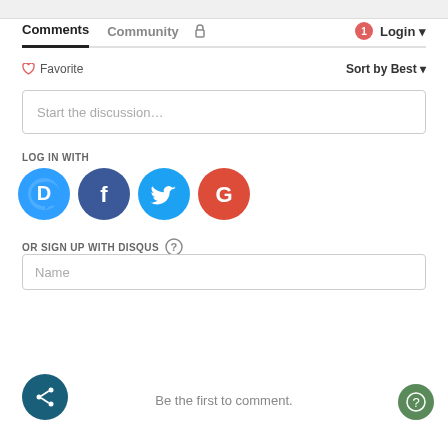Comments  Community  [lock icon]  [1] Login
♡ Favorite    Sort by Best
Start the discussion…
LOG IN WITH
[Figure (infographic): Four social login icons: Disqus (blue speech bubble with D), Facebook (dark blue circle with F), Twitter (light blue circle with bird), Google (red circle with G)]
OR SIGN UP WITH DISQUS ?
Name
Be the first to comment.
[Figure (infographic): Share button: dark teal circle with white share icon (three dots connected). Help button: green circle with question mark.]